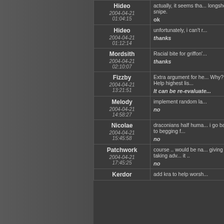| User/Date | Message |
| --- | --- |
| Hideo
2004-04-21 01:04:15 | actually, it seems tha... longshot or snipe.
ok |
| Hideo
2004-04-21 01:12:14 | unfortunately, i can't r...
thanks |
| Mordsith
2004-04-21 02:10:07 | Racial bite for griffon'...
thanks |
| Fizzby
2004-04-21 13:21:51 | Extra argument for he... Why? Help highest li...
It can be re-evaluate... |
| Melody
2004-04-21 14:58:27 | implement random la...
no |
| Nicolae
2004-04-21 15:45:58 | draconians half huma... i go back to begging f...
no |
| Patchwork
2004-04-21 17:45:25 | course .. would be na... giving and taking adv... it ..
no |
| Kerdor | add kra to help worsh... |